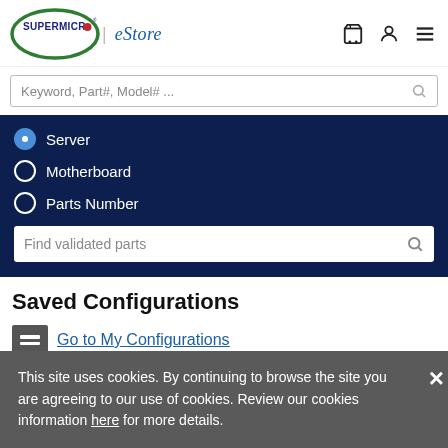[Figure (logo): Supermicro logo with green oval and red dot, followed by eStore text in italic blue]
Keyword, Part#, Model# ...
Server (selected)
Motherboard
Parts Number
Find validated parts
Saved Configurations
Go to My Configurations
2 Items
This site uses cookies. By continuing to browse the site you are agreeing to our use of cookies. Review our cookies information here for more details.